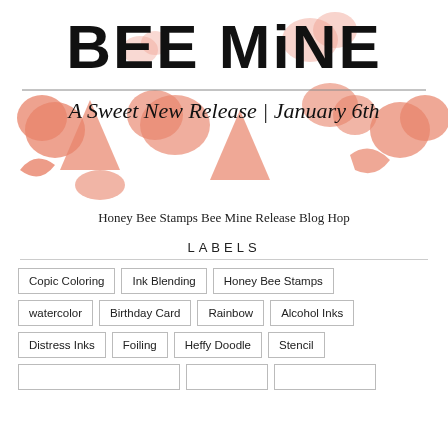[Figure (illustration): Bee Mine stamp release banner with bold black text 'BEE MiNE' at top, subtitle 'A Sweet New Release | January 6th' in italic serif, and a decorative background of salmon/coral heart and leaf shapes on white.]
Honey Bee Stamps Bee Mine Release Blog Hop
LABELS
Copic Coloring
Ink Blending
Honey Bee Stamps
watercolor
Birthday Card
Rainbow
Alcohol Inks
Distress Inks
Foiling
Heffy Doodle
Stencil